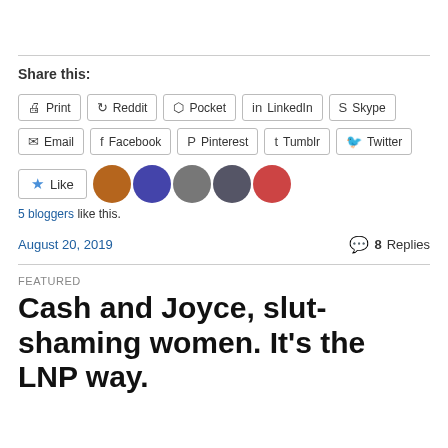Share this:
Print | Reddit | Pocket | LinkedIn | Skype
Email | Facebook | Pinterest | Tumblr | Twitter
Like | 5 bloggers like this.
August 20, 2019  8 Replies
FEATURED
Cash and Joyce, slut-shaming women. It's the LNP way.